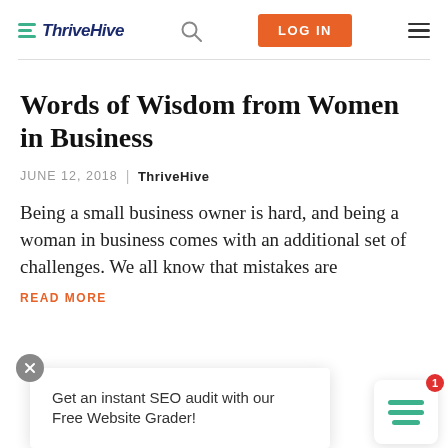ThriveHive — LOG IN
Words of Wisdom from Women in Business
JUNE 12, 2018  |  ThriveHive
Being a small business owner is hard, and being a woman in business comes with an additional set of challenges. We all know that mistakes are
READ MORE
Get an instant SEO audit with our Free Website Grader!